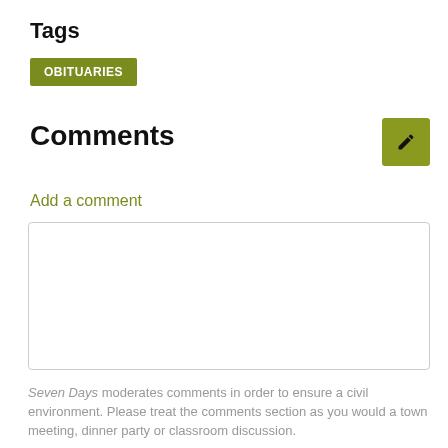Tags
OBITUARIES
Comments
Add a comment
Seven Days moderates comments in order to ensure a civil environment. Please treat the comments section as you would a town meeting, dinner party or classroom discussion.